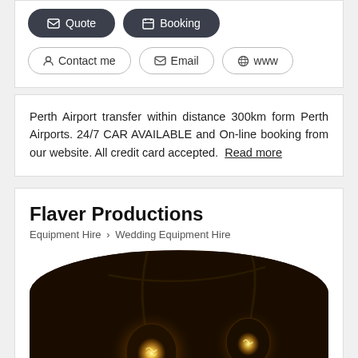Quote | Booking | Contact me | Email | www
Perth Airport transfer within distance 300km form Perth Airports. 24/7 CAR AVAILABLE and On-line booking from our website. All credit card accepted. Read more
Flaver Productions
Equipment Hire > Wedding Equipment Hire
[Figure (photo): Photo of vintage Edison light bulbs hanging against a dark background, warm glowing filaments visible.]